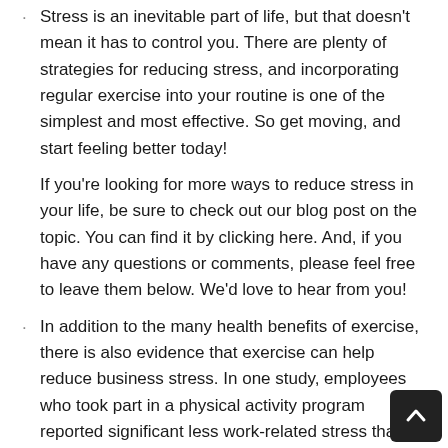Stress is an inevitable part of life, but that doesn't mean it has to control you. There are plenty of strategies for reducing stress, and incorporating regular exercise into your routine is one of the simplest and most effective. So get moving, and start feeling better today!
If you're looking for more ways to reduce stress in your life, be sure to check out our blog post on the topic. You can find it by clicking here. And, if you have any questions or comments, please feel free to leave them below. We'd love to hear from you!
In addition to the many health benefits of exercise, there is also evidence that exercise can help reduce business stress. In one study, employees who took part in a physical activity program reported significant less work-related stress than those who did not